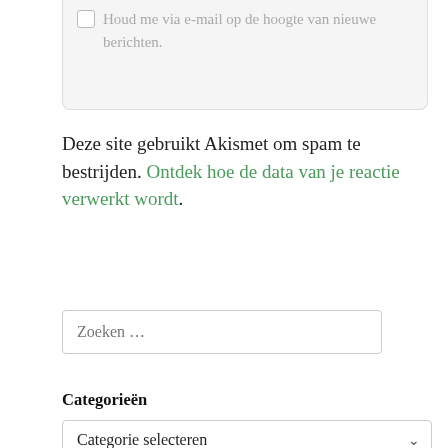Houd me via e-mail op de hoogte van nieuwe berichten.
Deze site gebruikt Akismet om spam te bestrijden. Ontdek hoe de data van je reactie verwerkt wordt.
Zoeken …
Categorieën
Categorie selecteren